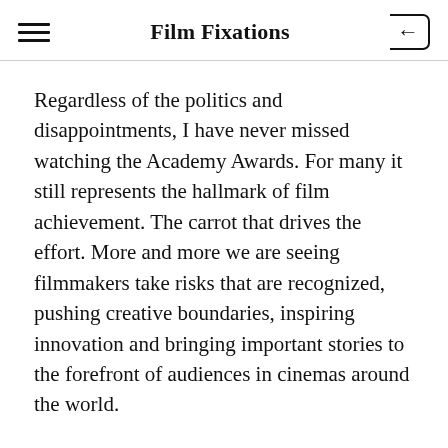Film Fixations
Regardless of the politics and disappointments, I have never missed watching the Academy Awards. For many it still represents the hallmark of film achievement. The carrot that drives the effort. More and more we are seeing filmmakers take risks that are recognized, pushing creative boundaries, inspiring innovation and bringing important stories to the forefront of audiences in cinemas around the world.